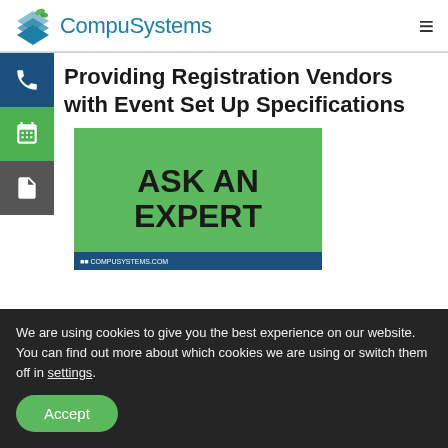CompuSystems
Providing Registration Vendors with Event Set Up Specifications
[Figure (photo): Green banner image with text 'ASK AN EXPERT' and a hand pointing, with CompuSystems branding at the bottom]
We are using cookies to give you the best experience on our website.
You can find out more about which cookies we are using or switch them off in settings.
Accept